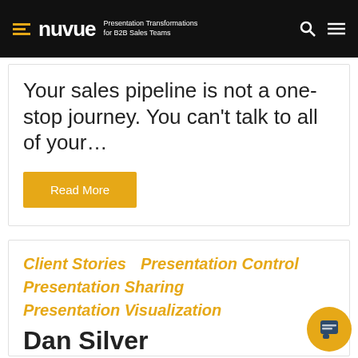nuvue — Presentation Transformations for B2B Sales Teams
Your sales pipeline is not a one-stop journey. You can't talk to all of your…
Read More
Client Stories
Presentation Control
Presentation Sharing
Presentation Visualization
Dan Silver